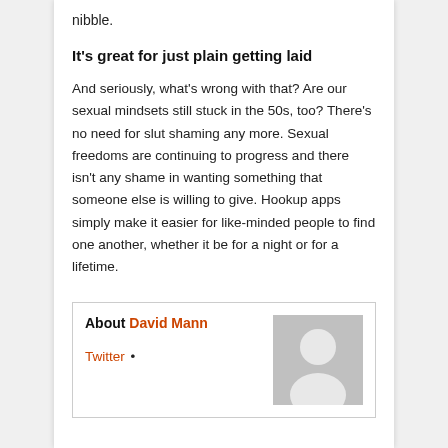nibble.
It's great for just plain getting laid
And seriously, what's wrong with that? Are our sexual mindsets still stuck in the 50s, too? There's no need for slut shaming any more. Sexual freedoms are continuing to progress and there isn't any shame in wanting something that someone else is willing to give. Hookup apps simply make it easier for like-minded people to find one another, whether it be for a night or for a lifetime.
About David Mann
Twitter •